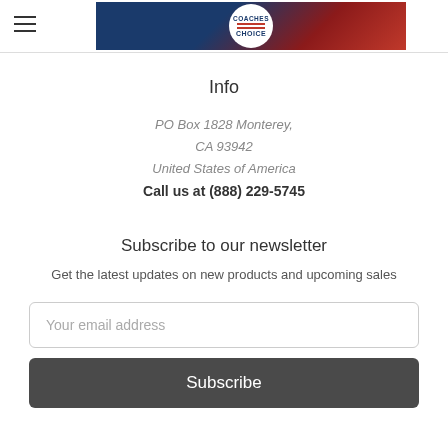Coaches Choice
Info
PO Box 1828 Monterey, CA 93942
United States of America
Call us at (888) 229-5745
Subscribe to our newsletter
Get the latest updates on new products and upcoming sales
Your email address
Subscribe